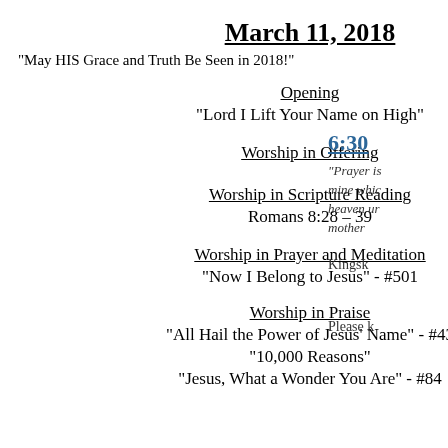March 11, 2018
"May HIS Grace and Truth Be Seen in 2018!"
Opening
“Lord I Lift Your Name on High”
Worship in Offering
Worship in Scripture Reading
Romans 8:28 – 39
Worship in Prayer and Meditation
“Now I Belong to Jesus” - #501
Worship in Praise
“All Hail the Power of Jesus’ Name” - #43
“10,000 Reasons”
“Jesus, What a Wonder You Are” - #84
6:30
“Prayer is mine whic heaven ur mother
Kingsk
Please k